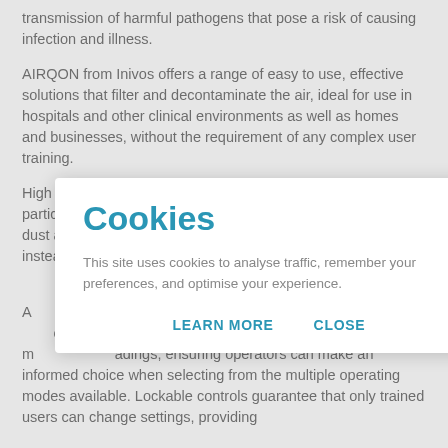transmission of harmful pathogens that pose a risk of causing infection and illness.
AIRQON from Inivos offers a range of easy to use, effective solutions that filter and decontaminate the air, ideal for use in hospitals and other clinical environments as well as homes and businesses, without the requirement of any complex user training.
High Efficiency Particulate Arrester (HEPA) filters strip out solid particles that pose risks from the air intake, such as bacteria, dust and mould. UV air sterilisation systems work similarly, but instead use a p[artially obscured] n irradiates ai[r, partially obscured] particulate m[atter, partially obscured]
A[partially obscured] 00 and C[partially obscured] MBI-1200 al[partially obscured] obile units, d[partially obscured] o any e[partially obscured] their m[partially obscured] adings, ensuring operators can make an informed choice when selecting from the multiple operating modes available. Lockable controls guarantee that only trained users can change settings, providing
Cookies
This site uses cookies to analyse traffic, remember your preferences, and optimise your experience.
LEARN MORE
CLOSE